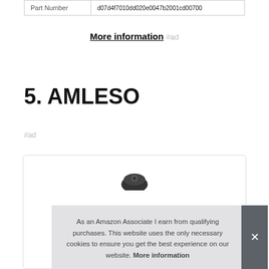| Part Number | d07d4f7010dd020e0047b2001cd00700 |
| --- | --- |
More information #ad
5. AMLESO
#ad
[Figure (photo): Product image inside a card with a black circular device visible at the top]
As an Amazon Associate I earn from qualifying purchases. This website uses the only necessary cookies to ensure you get the best experience on our website. More information